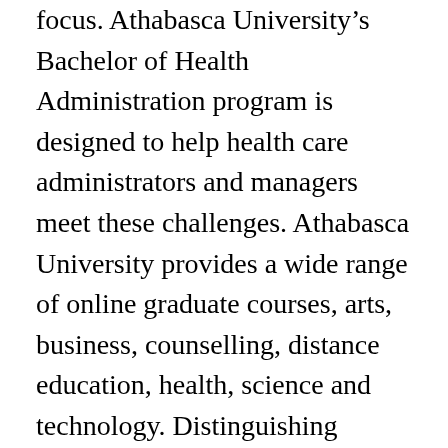focus. Athabasca University's Bachelor of Health Administration program is designed to help health care administrators and managers meet these challenges. Athabasca University provides a wide range of online graduate courses, arts, business, counselling, distance education, health, science and technology. Distinguishing Features. The Master of Health Studies is a 33-credit online graduate program. Preparing graduates for the unique demands of leadership within the healthcare sector, the program brings business and management principles into alignment with a health services focus. NURS 517 must be taken either before or concurrently with NURS 518. This mission is congruent with Athabasca Universityâ¦ Do you